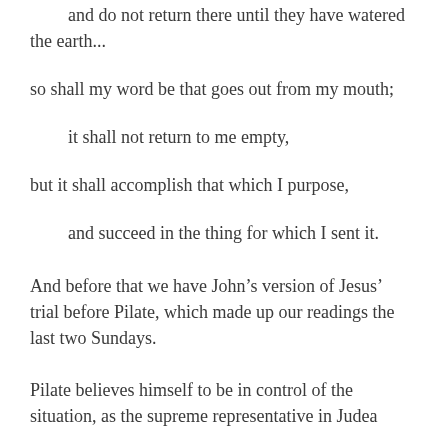and do not return there until they have watered the earth...
so shall my word be that goes out from my mouth;
it shall not return to me empty,
but it shall accomplish that which I purpose,
and succeed in the thing for which I sent it.
And before that we have John’s version of Jesus’ trial before Pilate, which made up our readings the last two Sundays.
Pilate believes himself to be in control of the situation, as the supreme representative in Judea